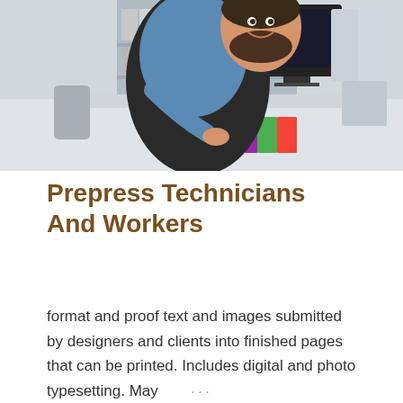[Figure (photo): A smiling bearded man wearing a denim shirt and black apron, leaning over a large format printing machine in a print shop, with color swatches visible on the machine and shelves with supplies in the background.]
Prepress Technicians And Workers
format and proof text and images submitted by designers and clients into finished pages that can be printed. Includes digital and photo typesetting. May